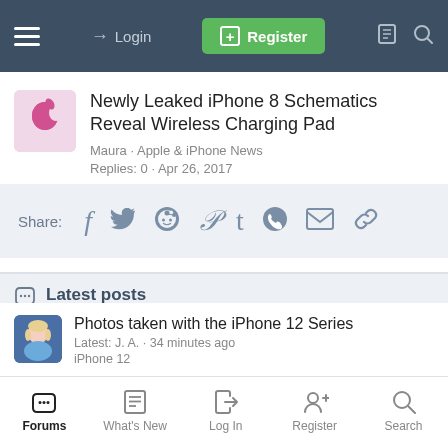Login | Register
Newly Leaked iPhone 8 Schematics Reveal Wireless Charging Pad
Maura · Apple & iPhone News
Replies: 0 · Apr 26, 2017
Share: (social icons: Facebook, Twitter, Reddit, Pinterest, Tumblr, WhatsApp, Email, Link)
Latest posts
Photos taken with the iPhone 12 Series
Latest: J. A. · 34 minutes ago
iPhone 12
Forum Game: Take a word, to give a word!
Forums | What's New | Log In | Register | Search